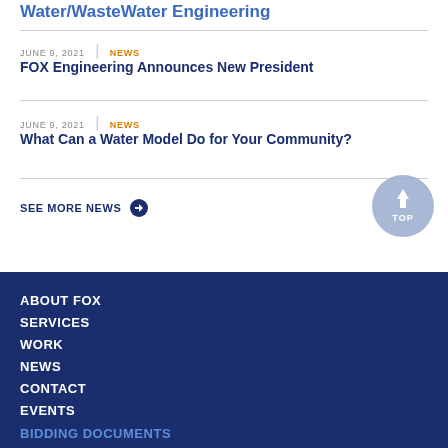Water/WasteWater Engineering
JUNE 9, 2021 | NEWS
FOX Engineering Announces New President
JUNE 9, 2021 | NEWS
What Can a Water Model Do for Your Community?
SEE MORE NEWS →
ABOUT FOX
SERVICES
WORK
NEWS
CONTACT
EVENTS
BIDDING DOCUMENTS